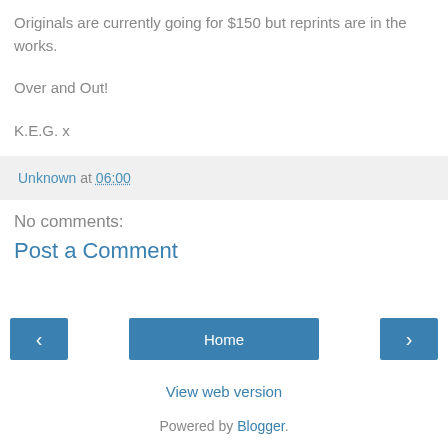Originals are currently going for $150 but reprints are in the works.
Over and Out!
K.E.G. x
Unknown at 06:00
No comments:
Post a Comment
‹
Home
›
View web version
Powered by Blogger.